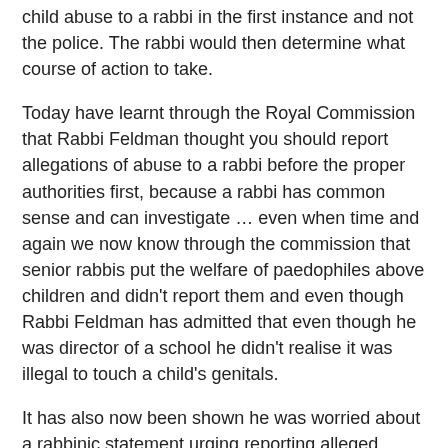child abuse to a rabbi in the first instance and not the police. The rabbi would then determine what course of action to take.
Today have learnt through the Royal Commission that Rabbi Feldman thought you should report allegations of abuse to a rabbi before the proper authorities first, because a rabbi has common sense and can investigate … even when time and again we now know through the commission that senior rabbis put the welfare of paedophiles above children and didn't report them and even though Rabbi Feldman has admitted that even though he was director of a school he didn't realise it was illegal to touch a child's genitals.
It has also now been shown he was worried about a rabbinic statement urging reporting alleged paedopiles to the police because it might affect his friend, the now convicted paedophile, David Cyprys …
At the time we called on Rabbi Feldman to lose his position, the RCNSW put out the following statement:
1.It is well known that halbanat panim be-rabim, shaming a person